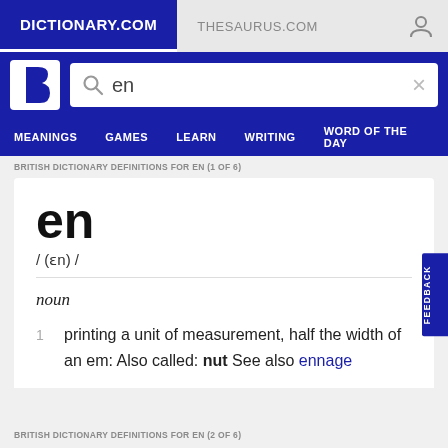DICTIONARY.COM | THESAURUS.COM
en
/ (ɛn) /
noun
1  printing a unit of measurement, half the width of an em: Also called: nut See also ennage
BRITISH DICTIONARY DEFINITIONS FOR EN (2 OF 6)